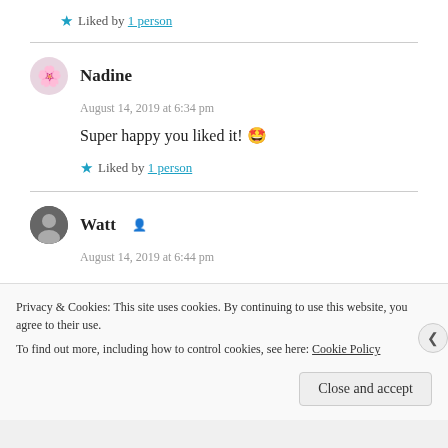★ Liked by 1 person
Nadine
August 14, 2019 at 6:34 pm
Super happy you liked it! 🤩
★ Liked by 1 person
Watt
August 14, 2019 at 6:44 pm
Privacy & Cookies: This site uses cookies. By continuing to use this website, you agree to their use. To find out more, including how to control cookies, see here: Cookie Policy
Close and accept